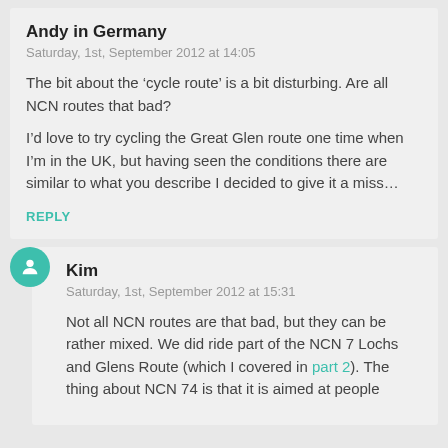Andy in Germany
Saturday, 1st, September 2012 at 14:05
The bit about the ‘cycle route’ is a bit disturbing. Are all NCN routes that bad?
I’d love to try cycling the Great Glen route one time when I’m in the UK, but having seen the conditions there are similar to what you describe I decided to give it a miss…
REPLY
Kim
Saturday, 1st, September 2012 at 15:31
Not all NCN routes are that bad, but they can be rather mixed. We did ride part of the NCN 7 Lochs and Glens Route (which I covered in part 2). The thing about NCN 74 is that it is aimed at people